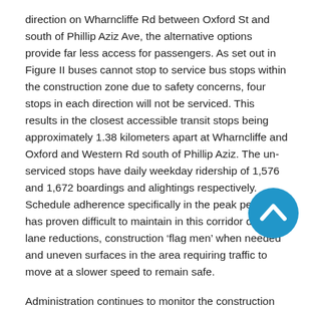direction on Wharncliffe Rd between Oxford St and south of Phillip Aziz Ave, the alternative options provide far less access for passengers. As set out in Figure II buses cannot stop to service bus stops within the construction zone due to safety concerns, four stops in each direction will not be serviced. This results in the closest accessible transit stops being approximately 1.38 kilometers apart at Wharncliffe and Oxford and Western Rd south of Phillip Aziz. The un-serviced stops have daily weekday ridership of 1,576 and 1,672 boardings and alightings respectively. Schedule adherence specifically in the peak periods has proven difficult to maintain in this corridor due to lane reductions, construction 'flag men' when needed and uneven surfaces in the area requiring traffic to move at a slower speed to remain safe.
[Figure (other): Blue circular back-to-top button with white chevron/arrow pointing upward]
Administration continues to monitor the construction season on a weekly basis to assess the impacts on schedule adherence and determine if it is safe to open any stops between Oxford and Phillip Aziz. At time of report writing, there are